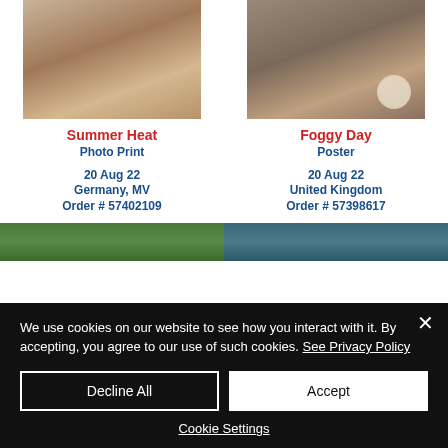[Figure (photo): Photo of a person crouching, shown from behind, artistic nude style]
[Figure (photo): Photo of a person in profile, shown from behind, artistic nude style with blurred circular object]
Summer Heat
Photo Print
20 Aug 22
Germany, MV
Order # 57402109
Foggy Day
Poster
20 Aug 22
United Kingdom
Order # 57398617
[Figure (photo): Partial view of a green-toned photo, cropped at bottom of page]
[Figure (photo): Partial view of a teal/green-toned photo, cropped at bottom of page]
We use cookies on our website to see how you interact with it. By accepting, you agree to our use of such cookies. See Privacy Policy
Decline All
Accept
Cookie Settings